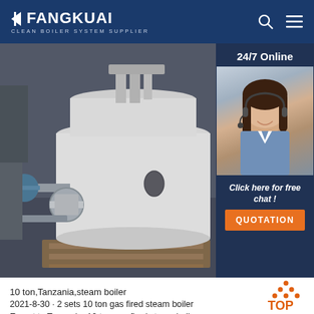FANGKUAI - Clean Boiler System Supplier
[Figure (photo): Industrial gas-fired steam boiler in a factory/warehouse setting, showing large white cylindrical vessel with pipe fittings and valves. Side panel shows a female customer service agent with headset, '24/7 Online' text, 'Click here for free chat!' text, and an orange QUOTATION button.]
10 ton,Tanzania,steam boiler
2021-8-30 · 2 sets 10 ton gas fired steam boiler Export to Tanzania. 10 ton gas fired steam boiler Export to Tanzania Henan yuanda boiler is located in the beautiful scenery, convenient transportation of yihua county henan province, was founded in
[Figure (logo): TOP icon — orange dots arranged in triangle with 'TOP' text in orange]